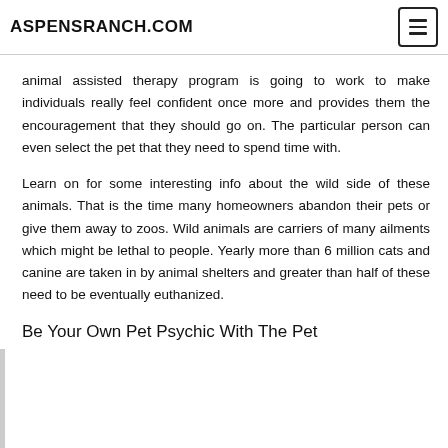ASPENSRANCH.COM
animal assisted therapy program is going to work to make individuals really feel confident once more and provides them the encouragement that they should go on. The particular person can even select the pet that they need to spend time with.
Learn on for some interesting info about the wild side of these animals. That is the time many homeowners abandon their pets or give them away to zoos. Wild animals are carriers of many ailments which might be lethal to people. Yearly more than 6 million cats and canine are taken in by animal shelters and greater than half of these need to be eventually euthanized.
Be Your Own Pet Psychic With The Pet